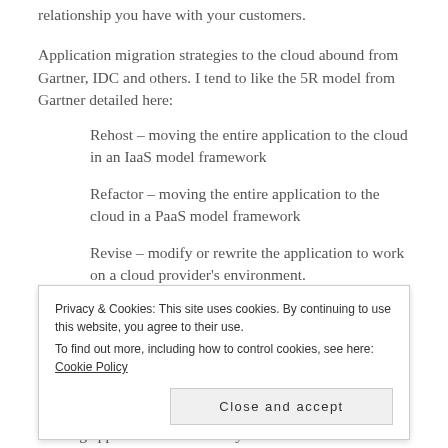relationship you have with your customers.
Application migration strategies to the cloud abound from Gartner, IDC and others. I tend to like the 5R model from Gartner detailed here:
Rehost – moving the entire application to the cloud in an IaaS model framework
Refactor – moving the entire application to the cloud in a PaaS model framework
Revise – modify or rewrite the application to work on a cloud provider's environment.
Privacy & Cookies: This site uses cookies. By continuing to use this website, you agree to their use.
To find out more, including how to control cookies, see here: Cookie Policy
Close and accept
existing application functionality